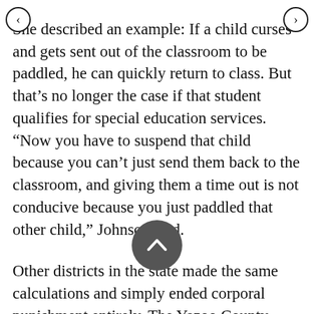She described an example: If a child curses and gets sent out of the classroom to be paddled, he can quickly return to class. But that’s no longer the case if that student qualifies for special education services. “Now you have to suspend that child because you can’t just send them back to the classroom, and giving them a time out is not conducive because you just paddled that other child,” Johnson said.
Other districts in the state made the same calculations and simply ended corporal punishment entirely. The Yazoo County School District used to routinely paddle kids, but Superintendent Ken Barron said teachers and administrators both felt uncomfortable